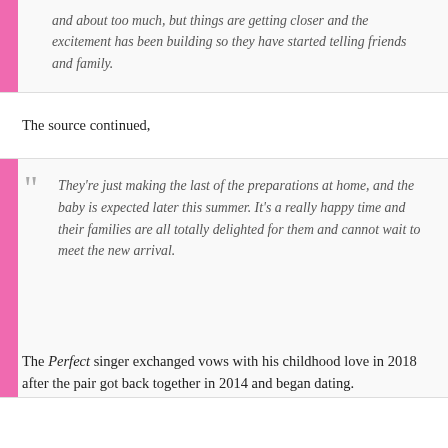and about too much, but things are getting closer and the excitement has been building so they have started telling friends and family.
The source continued,
They're just making the last of the preparations at home, and the baby is expected later this summer. It's a really happy time and their families are all totally delighted for them and cannot wait to meet the new arrival.
The Perfect singer exchanged vows with his childhood love in 2018 after the pair got back together in 2014 and began dating.